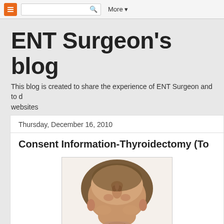More ▼
ENT Surgeon's blog
This blog is created to share the experience of ENT Surgeon and to d... websites
Thursday, December 16, 2010
Consent Information-Thyroidectomy (To...
[Figure (illustration): Medical illustration showing a patient's head tilted back, exposing the neck/throat area, used to depict the surgical site for a thyroidectomy procedure.]